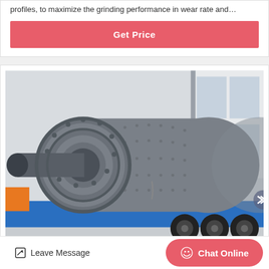profiles, to maximize the grinding performance in wear rate and…
Get Price
[Figure (photo): Large industrial ball mill mounted on a flatbed truck in a factory or warehouse setting. The mill is a large cylindrical steel drum with bolted flanges and a cylindrical inlet/outlet pipe on the left end. The machine is dark gray, on a blue flatbed, with truck wheels visible underneath. Industrial building structure visible in background.]
Leave Message
Chat Online